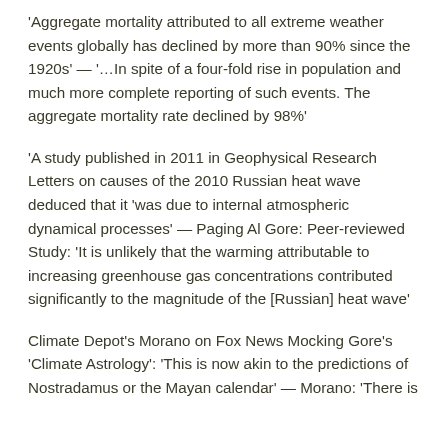'Aggregate mortality attributed to all extreme weather events globally has declined by more than 90% since the 1920s' — '…In spite of a four-fold rise in population and much more complete reporting of such events. The aggregate mortality rate declined by 98%'
'A study published in 2011 in Geophysical Research Letters on causes of the 2010 Russian heat wave deduced that it 'was due to internal atmospheric dynamical processes' — Paging Al Gore: Peer-reviewed Study: 'It is unlikely that the warming attributable to increasing greenhouse gas concentrations contributed significantly to the magnitude of the [Russian] heat wave'
Climate Depot's Morano on Fox News Mocking Gore's 'Climate Astrology': 'This is now akin to the predictions of Nostradamus or the Mayan calendar' — Morano: 'There is